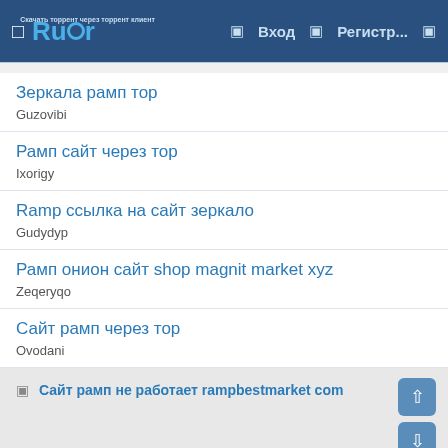Rutor | Вход | Регистр...
Зеркала рамп тор
Guzovibi
Рамп сайт через тор
Ixorigy
Ramp ссылка на сайт зеркало
Gudydyp
Рамп онион сайт shop magnit market xyz
Zeqeryqo
Сайт рамп через тор
Ovodani
Сайт рамп не работает rampbestmarket com
Light | Russian (RU)